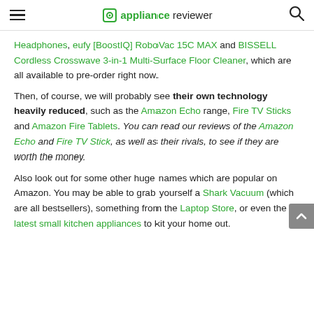appliance reviewer
Headphones, eufy [BoostIQ] RoboVac 15C MAX and BISSELL Cordless Crosswave 3-in-1 Multi-Surface Floor Cleaner, which are all available to pre-order right now.
Then, of course, we will probably see their own technology heavily reduced, such as the Amazon Echo range, Fire TV Sticks and Amazon Fire Tablets. You can read our reviews of the Amazon Echo and Fire TV Stick, as well as their rivals, to see if they are worth the money.
Also look out for some other huge names which are popular on Amazon. You may be able to grab yourself a Shark Vacuum (which are all bestsellers), something from the Laptop Store, or even the latest small kitchen appliances to kit your home out.